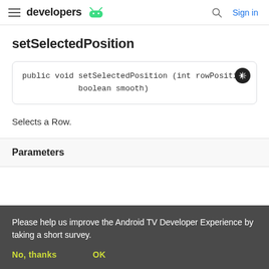developers | Sign in
setSelectedPosition
Selects a Row.
Parameters
Please help us improve the Android TV Developer Experience by taking a short survey.
No, thanks   OK